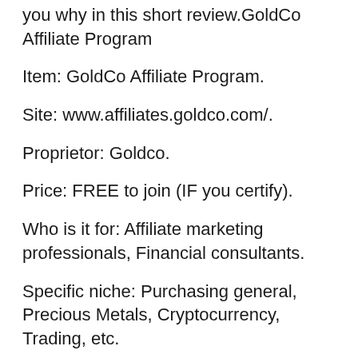you why in this short review.GoldCo Affiliate Program
Item: GoldCo Affiliate Program.
Site: www.affiliates.goldco.com/.
Proprietor: Goldco.
Price: FREE to join (IF you certify).
Who is it for: Affiliate marketing professionals, Financial consultants.
Specific niche: Purchasing general, Precious Metals, Cryptocurrency, Trading, etc.
General ranking: 4.9 out of 5 celebrities (4.9/